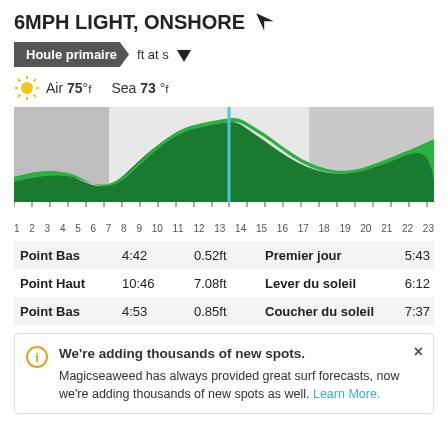6MPH LIGHT, ONSHORE
Houle primaire  ft at s
Air 75°f   Sea 73 °f
[Figure (area-chart): Tidal/wave height area chart over 24 hours (1-23), showing green wave-shaped area chart with gray shading for night periods and a cyan vertical line at hour 12.]
|  | Time | Height | Event | Time2 |
| --- | --- | --- | --- | --- |
| Point Bas | 4:42 | 0.52ft | Premier jour | 5:43 |
| Point Haut | 10:46 | 7.08ft | Lever du soleil | 6:12 |
| Point Bas | 4:53 | 0.85ft | Coucher du soleil | 7:37 |
We're adding thousands of new spots. Magicseaweed has always provided great surf forecasts, now we're adding thousands of new spots as well. Learn More.